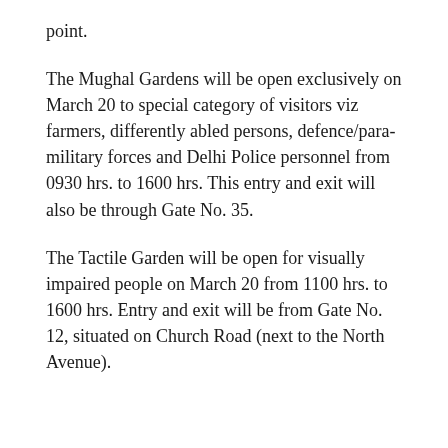point.
The Mughal Gardens will be open exclusively on March 20 to special category of visitors viz farmers, differently abled persons, defence/para-military forces and Delhi Police personnel from 0930 hrs. to 1600 hrs. This entry and exit will also be through Gate No. 35.
The Tactile Garden will be open for visually impaired people on March 20 from 1100 hrs. to 1600 hrs. Entry and exit will be from Gate No. 12, situated on Church Road (next to the North Avenue).